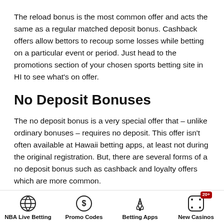The reload bonus is the most common offer and acts the same as a regular matched deposit bonus. Cashback offers allow bettors to recoup some losses while betting on a particular event or period. Just head to the promotions section of your chosen sports betting site in HI to see what's on offer.
No Deposit Bonuses
The no deposit bonus is a very special offer that – unlike ordinary bonuses – requires no deposit. This offer isn't often available at Hawaii betting apps, at least not during the original registration. But, there are several forms of a no deposit bonus such as cashback and loyalty offers which are more common.
[Figure (infographic): Footer navigation bar with four icons and labels: NBA Live Betting (basketball icon), Promo Codes (dollar-circle icon), Betting Apps (rocket icon), New Casinos (dice icon with 20+ badge)]